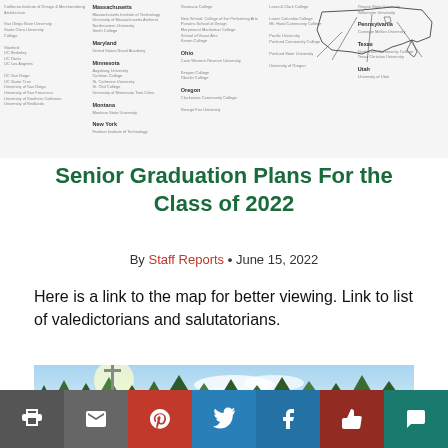[Figure (map): Map of the United States with lines connecting to various colleges and universities, alongside multi-column lists of schools organized by state including California, Massachusetts, Maryland, Minnesota, Montana, New York, Ohio, Oregon, Pennsylvania, Texas, Utah and others.]
Senior Graduation Plans For the Class of 2022
By Staff Reports • June 15, 2022
Here is a link to the map for better viewing. Link to list of valedictorians and salutatorians.
[Figure (photo): Outdoor photo showing trees and sky, taken from below looking upward with bright sky and conifer trees visible.]